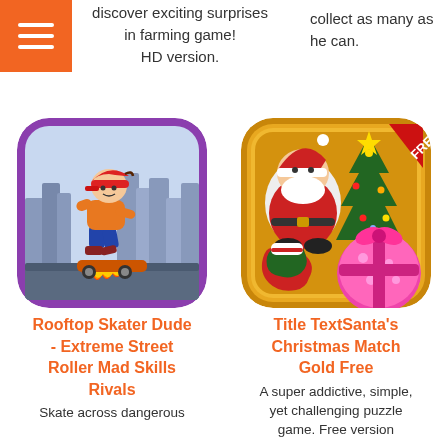discover exciting surprises in farming game! HD version.
collect as many as he can.
[Figure (illustration): App icon for Rooftop Skater Dude - cartoon skateboarder boy in orange hoodie and red cap skating on a flaming skateboard with city skyline background, purple rounded square border]
Rooftop Skater Dude - Extreme Street Roller Mad Skills Rivals
Skate across dangerous
[Figure (illustration): App icon for Title TextSanta's Christmas Match Gold Free - golden rounded square with Santa Claus, Christmas tree, stocking, and gift box cookie/ornament decorations with FREE red banner in top right corner]
Title TextSanta's Christmas Match Gold Free
A super addictive, simple, yet challenging puzzle game. Free version